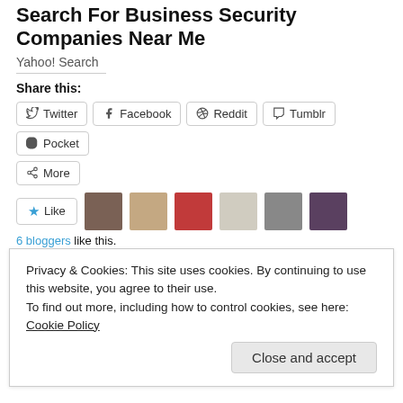Search For Business Security Companies Near Me
Yahoo! Search
Share this:
Twitter | Facebook | Reddit | Tumblr | Pocket | More
Like
6 bloggers like this.
EAP Stories
June 17, 2015
Blog post number 1: My big news!!!!
Privacy & Cookies: This site uses cookies. By continuing to use this website, you agree to their use.
To find out more, including how to control cookies, see here: Cookie Policy
Close and accept